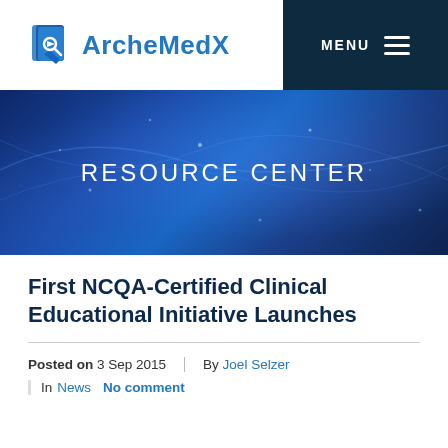[Figure (logo): ArcheMedX logo with blue book/cursor icon and blue text]
MENU
[Figure (illustration): Dark blue banner with glowing particle/light streak effects and text RESOURCE CENTER]
First NCQA-Certified Clinical Educational Initiative Launches
Posted on 3 Sep 2015
By Joel Selzer
In News  No comment